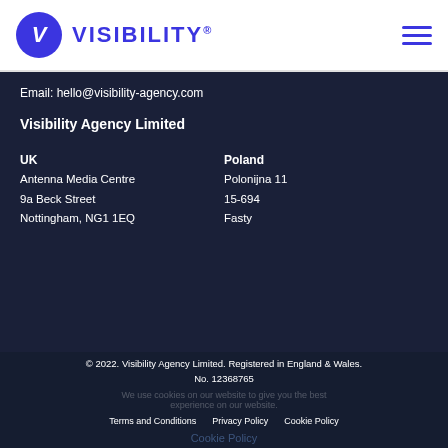VISIBILITY®
Email: hello@visibility-agency.com
Visibility Agency Limited
UK
Antenna Media Centre
9a Beck Street
Nottingham, NG1 1EQ
Poland
Polonijna 11
15-694
Fasty
© 2022. Visibility Agency Limited. Registered in England & Wales. No. 12368765
Terms and Conditions    Privacy Policy    Cookie Policy